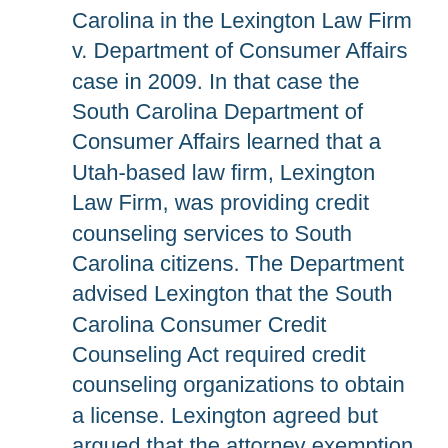Carolina in the Lexington Law Firm v. Department of Consumer Affairs case in 2009. In that case the South Carolina Department of Consumer Affairs learned that a Utah-based law firm, Lexington Law Firm, was providing credit counseling services to South Carolina citizens. The Department advised Lexington that the South Carolina Consumer Credit Counseling Act required credit counseling organizations to obtain a license. Lexington agreed but argued that the attorney exemption within the Act exempted it from the Department's regulation.